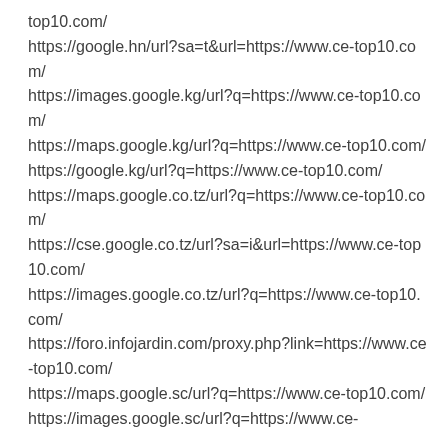top10.com/
https://google.hn/url?sa=t&url=https://www.ce-top10.com/
https://images.google.kg/url?q=https://www.ce-top10.com/
https://maps.google.kg/url?q=https://www.ce-top10.com/
https://google.kg/url?q=https://www.ce-top10.com/
https://maps.google.co.tz/url?q=https://www.ce-top10.com/
https://cse.google.co.tz/url?sa=i&url=https://www.ce-top10.com/
https://images.google.co.tz/url?q=https://www.ce-top10.com/
https://foro.infojardin.com/proxy.php?link=https://www.ce-top10.com/
https://maps.google.sc/url?q=https://www.ce-top10.com/
https://images.google.sc/url?q=https://www.ce-